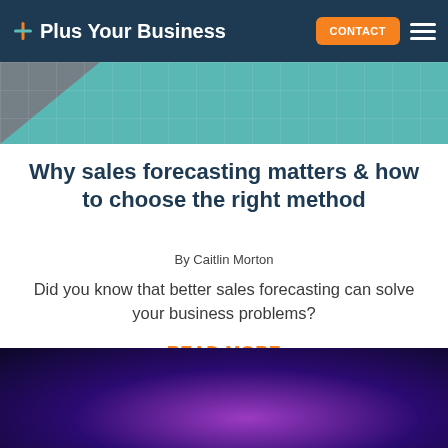Plus Your Business — CONTACT
[Figure (illustration): Teal banner strip with dark grey/purple triangle on left, faint grid pattern overlay]
Why sales forecasting matters & how to choose the right method
By Caitlin Morton
Did you know that better sales forecasting can solve your business problems?
READ MORE
[Figure (photo): Dark purple/blue gradient background image, partially visible at bottom of page]